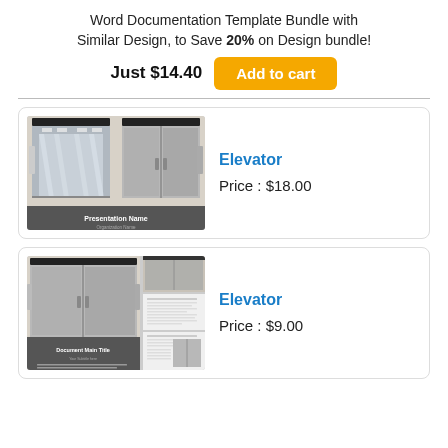Word Documentation Template Bundle with Similar Design, to Save 20% on Design bundle!
Just $14.40  Add to cart
[Figure (screenshot): Elevator presentation template thumbnail showing open elevator doors with 'Presentation Name' and 'Organization Name' text]
Elevator
Price : $18.00
[Figure (screenshot): Elevator Word document template thumbnail showing elevator doors and document pages with 'Document Main Title' text]
Elevator
Price : $9.00